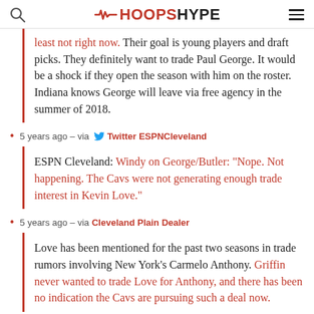HoopsHype
least not right now. Their goal is young players and draft picks. They definitely want to trade Paul George. It would be a shock if they open the season with him on the roster. Indiana knows George will leave via free agency in the summer of 2018.
5 years ago – via Twitter ESPNCleveland
ESPN Cleveland: Windy on George/Butler: "Nope. Not happening. The Cavs were not generating enough trade interest in Kevin Love."
5 years ago – via Cleveland Plain Dealer
Love has been mentioned for the past two seasons in trade rumors involving New York's Carmelo Anthony. Griffin never wanted to trade Love for Anthony, and there has been no indication the Cavs are pursuing such a deal now.
5 years ago – via Cleveland Plain Dealer